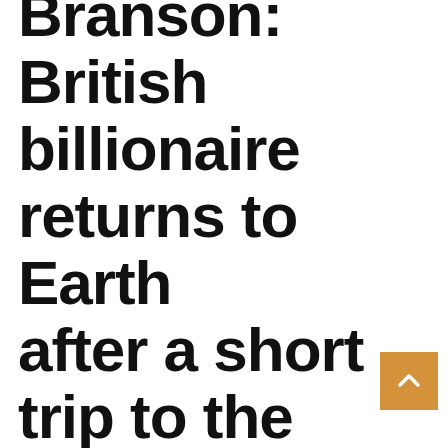Richard Branson: British billionaire returns to Earth after a short trip to the “edge of space”